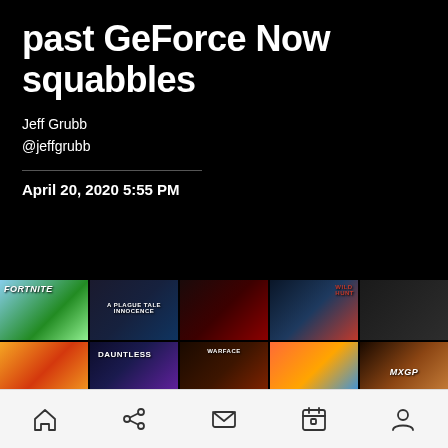past GeForce Now squabbles
Jeff Grubb
@jeffgrubb
April 20, 2020 5:55 PM
[Figure (screenshot): Grid of video game cover art thumbnails including Fortnite, Star game, Dead by Daylight, World of Warships, Cuphead, Dauntless, Warface, Crash Team Racing, MXGP, an unknown game, RIDE 3, Insurgency, BeamNG.drive, and another world game]
Home, Share, Mail, Calendar, Profile navigation icons